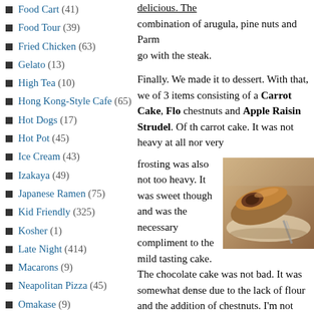Food Cart (41)
Food Tour (39)
Fried Chicken (63)
Gelato (13)
High Tea (10)
Hong Kong-Style Cafe (65)
Hot Dogs (17)
Hot Pot (45)
Ice Cream (43)
Izakaya (49)
Japanese Ramen (75)
Kid Friendly (325)
Kosher (1)
Late Night (414)
Macarons (9)
Neapolitan Pizza (45)
Omakase (9)
Pho (127)
Pizza (102)
Poutine (38)
Push Cart Dim Sum (34)
Ribs (14)
combination of arugula, pine nuts and Parm go with the steak. Finally. We made it to dessert. With that, we of 3 items consisting of a Carrot Cake, Flo chestnuts and Apple Raisin Strudel. Of the carrot cake. It was not heavy at all nor very frosting was also not too heavy. It was sweet though and was the necessary compliment to the mild tasting cake. The chocolate cake was not bad. It was somewhat dense due to the lack of flour and the addition of chestnuts. I'm not opinion is probably biased. I did like that th
[Figure (photo): Photo of an Apple Raisin Strudel pastry on a plate, showing a rolled pastry cut to reveal the filling inside, with a fork visible in the background.]